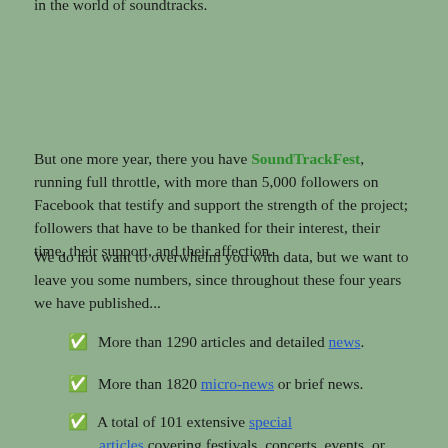in the world of soundtracks.
But one more year, there you have SoundTrackFest, running full throttle, with more than 5,000 followers on Facebook that testify and support the strength of the project; followers that have to be thanked for their interest, their time, their support, and their affection.
We do not want to overwhelm you with data, but we want to leave you some numbers, since throughout these four years we have published...
More than 1290 articles and detailed news.
More than 1820 micro-news or brief news.
A total of 101 extensive special articles covering festivals, concerts, events, or